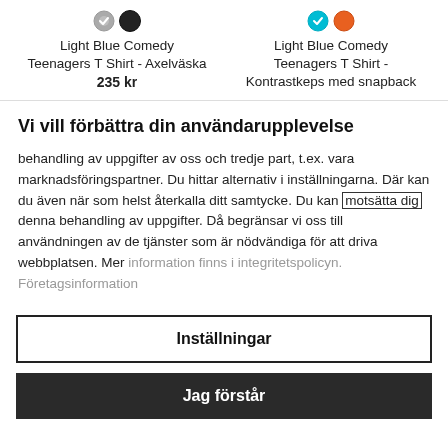[Figure (other): Two product listings side by side: color swatches for two items with product names and price.]
Vi vill förbättra din användarupplevelse
behandling av uppgifter av oss och tredje part, t.ex. vara marknadsföringspartner. Du hittar alternativ i inställningarna. Där kan du även när som helst återkalla ditt samtycke. Du kan motsätta dig denna behandling av uppgifter. Då begränsar vi oss till användningen av de tjänster som är nödvändiga för att driva webbplatsen. Mer information finns i integritetspolicyn. Företagsinformation
Inställningar
Jag förstår